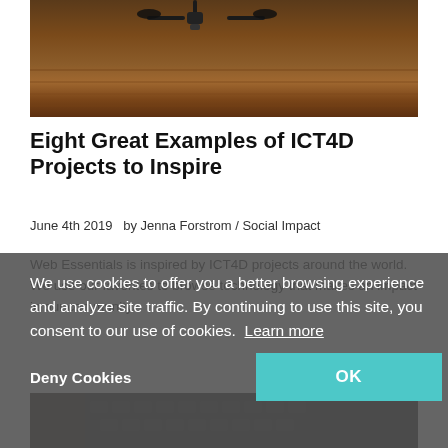[Figure (photo): Drone flying over a brown/orange field, photographed from below against warm-toned crops]
Eight Great Examples of ICT4D Projects to Inspire
June 4th 2019   by Jenna Forstrom / Social Impact
Web Essentials is inspired by ICT4D projects around the world. We use our favorites to browse technology that makes an impact in our community.
We use cookies to offer you a better browsing experience and analyze site traffic. By continuing to use this site, you consent to our use of cookies.  Learn more
Deny Cookies
OK
[Figure (photo): Dark keyboard/laptop image visible at bottom of page]